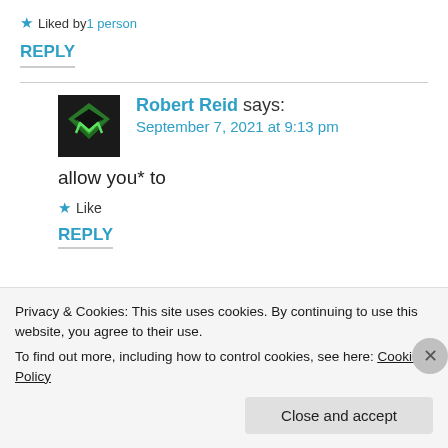★ Liked by 1 person
REPLY
[Figure (logo): Robert Reid avatar/logo — dark background with green geometric M/diamond shape]
Robert Reid says: September 7, 2021 at 9:13 pm
allow you* to
★ Like
REPLY
Privacy & Cookies: This site uses cookies. By continuing to use this website, you agree to their use.
To find out more, including how to control cookies, see here: Cookie Policy
Close and accept